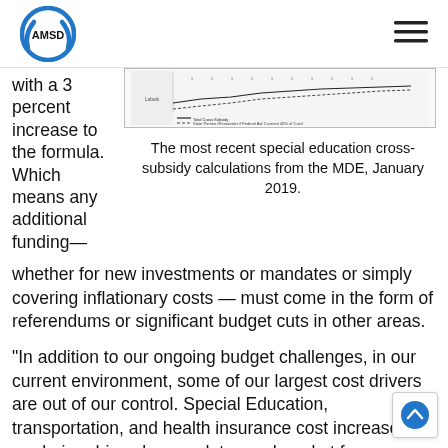AMSD
with a 3 percent increase to the formula. Which means any additional funding— whether for new investments or mandates or simply covering inflationary costs — must come in the form of referendums or significant budget cuts in other areas.
[Figure (other): Small chart thumbnail showing special education cross-subsidy data lines]
The most recent special education cross-subsidy calculations from the MDE, January 2019.
“In addition to our ongoing budget challenges, in our current environment, some of our largest cost drivers are out of our control. Special Education, transportation, and health insurance cost increases are being driven by mandates and market forces